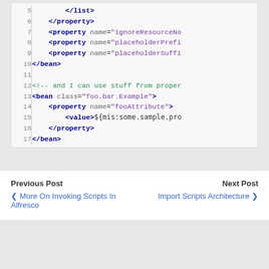[Figure (screenshot): Code block showing XML configuration lines 5-17 with line numbers, featuring bean and property tags with attributes]
Previous Post | Next Post | More On Invoking Scripts In Alfresco | Import Scripts Architecture